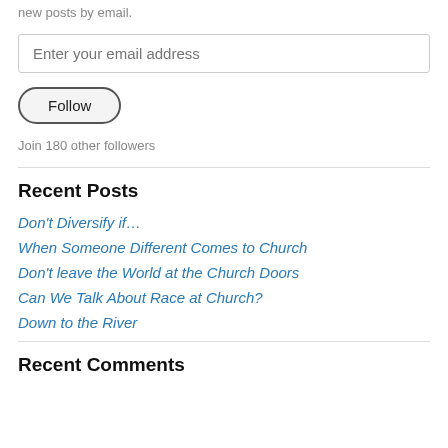Enter your email address to follow this blog and receive notifications of new posts by email.
Enter your email address
Follow
Join 180 other followers
Recent Posts
Don't Diversify if…
When Someone Different Comes to Church
Don't leave the World at the Church Doors
Can We Talk About Race at Church?
Down to the River
Recent Comments